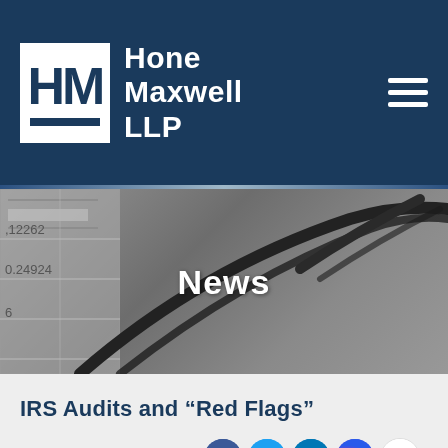[Figure (logo): Hone Maxwell LLP logo and navigation header with dark navy background, HM monogram in white box, firm name in white text, hamburger menu icon]
[Figure (photo): Hero image with glasses and financial documents in grayscale background with 'News' text overlay]
IRS Audits and “Red Flags”
[Figure (other): Social media icons row: Facebook, Twitter, LinkedIn, Instagram, Gmail]